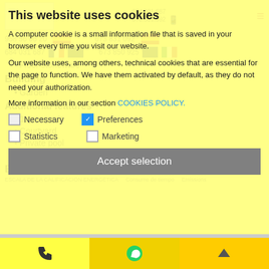This website uses cookies
A computer cookie is a small information file that is saved in your browser every time you visit our website.
Our website uses, among others, technical cookies that are essential for the page to function. We have them activated by default, as they do not need your authorization.
More information in our section COOKIES POLICY.
Necessary
Preferences
Statistics
Marketing
Accept selection
Floor stoneware
Building
Garden
Additional features
1 garages/s
Courtyard
Private pool
Air conditioner cold/hot
Energy certificate
Accept all cookies
Setting